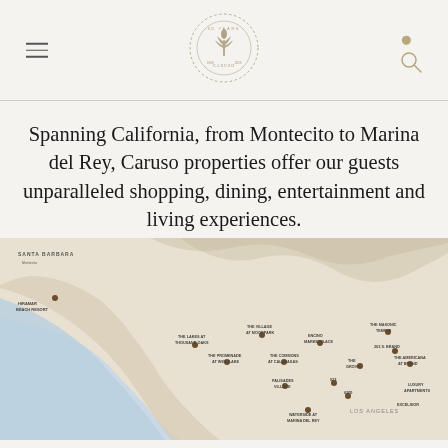Caruso — navigation header with logo, hamburger menu, and search icon
Spanning California, from Montecito to Marina del Rey, Caruso properties offer our guests unparalleled shopping, dining, entertainment and living experiences.
[Figure (map): Map of Southern California showing Caruso property locations including: Hiramar Beach Resort (Santa Barbara area), The Lakes at Thousand Oaks, The Village at Moorpark, Encino Marketplace, The Masonic Temple, 263 S. Brand, The Promenade at Westlake, The Commons at Calabasas, The Grove, The Americana at Brand, Palisades Village, 523, 6300, Luxury Apartments, Excelsior, Waterside at Marina del Rey]
Get the Latest News and Offers